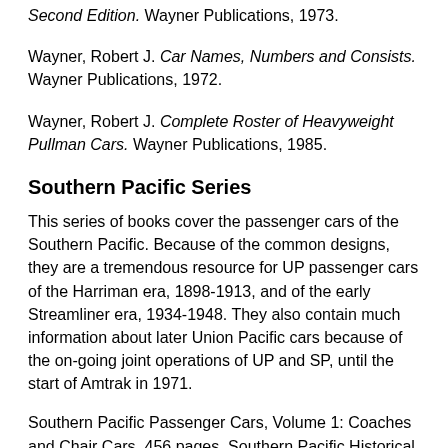Second Edition. Wayner Publications, 1973.
Wayner, Robert J. Car Names, Numbers and Consists. Wayner Publications, 1972.
Wayner, Robert J. Complete Roster of Heavyweight Pullman Cars. Wayner Publications, 1985.
Southern Pacific Series
This series of books cover the passenger cars of the Southern Pacific. Because of the common designs, they are a tremendous resource for UP passenger cars of the Harriman era, 1898-1913, and of the early Streamliner era, 1934-1948. They also contain much information about later Union Pacific cars because of the on-going joint operations of UP and SP, until the start of Amtrak in 1971.
Southern Pacific Passenger Cars, Volume 1: Coaches and Chair Cars. 456 pages. Southern Pacific Historical & Technical Society, 2003.